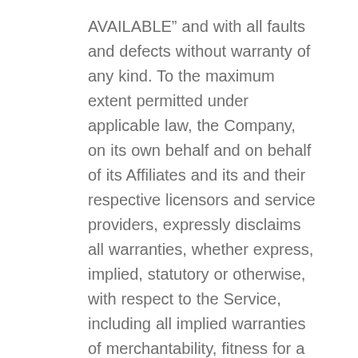AVAILABLE” and with all faults and defects without warranty of any kind. To the maximum extent permitted under applicable law, the Company, on its own behalf and on behalf of its Affiliates and its and their respective licensors and service providers, expressly disclaims all warranties, whether express, implied, statutory or otherwise, with respect to the Service, including all implied warranties of merchantability, fitness for a particular purpose, title and non-infringement, and warranties that may arise out of course of dealing, course of performance, usage or trade practice. Without limitation to the foregoing, the Company provides no warranty or undertaking, and makes no representation of any kind that the Service will meet Your requirements, achieve any intended results, be compatible or work with any other software, applications, systems or services, operate without interruption, meet any performance or reliability